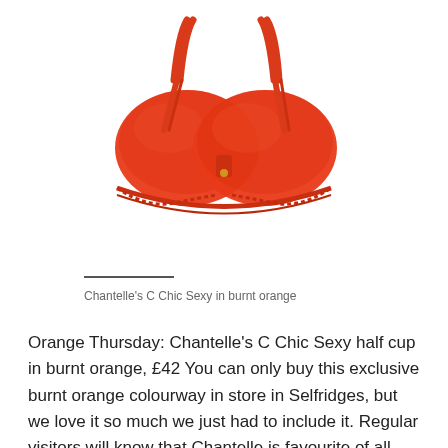[Figure (photo): A burnt orange lace half-cup bra (Chantelle's C Chic Sexy) with adjustable straps, shown on a white background.]
Chantelle's C Chic Sexy in burnt orange
Orange Thursday: Chantelle's C Chic Sexy half cup in burnt orange, £42 You can only buy this exclusive burnt orange colourway in store in Selfridges, but we love it so much we just had to include it. Regular visitors will know that Chantelle is favourite of all three of us, and the C Chic Sexy